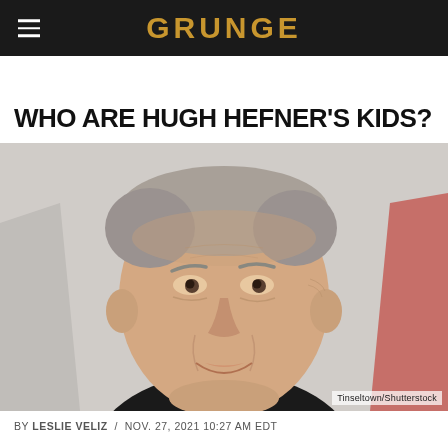GRUNGE
WHO ARE HUGH HEFNER'S KIDS?
[Figure (photo): Close-up photograph of an elderly man with grey hair, smiling slightly, wearing a dark suit, photographed at a public event against a light background.]
Tinseltown/Shutterstock
BY LESLIE VELIZ / NOV. 27, 2021 10:27 AM EDT